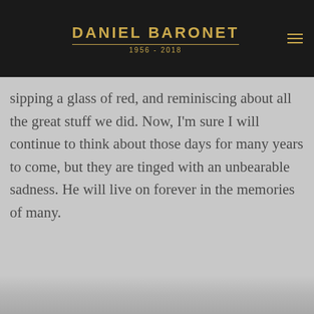DANIEL BARONET 1956 - 2018
same from No. Ms. last summer. We had always enjoyed sitting out in the backyard at Phil's homestead, watching the sunset, sipping a glass of red, and reminiscing about all the great stuff we did. Now, I'm sure I will continue to think about those days for many years to come, but they are tinged with an unbearable sadness. He will live on forever in the memories of many.